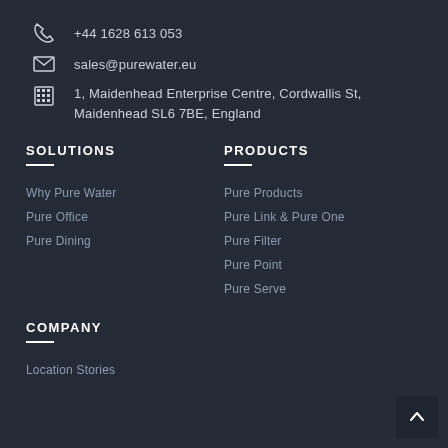+44 1628 613 053
sales@purewater.eu
1, Maidenhead Enterprise Centre, Cordwallis St, Maidenhead SL6 7BE, England
SOLUTIONS
Why Pure Water
Pure Office
Pure Dining
PRODUCTS
Pure Products
Pure Link & Pure One
Pure Filter
Pure Point
Pure Serve
COMPANY
Location Stories